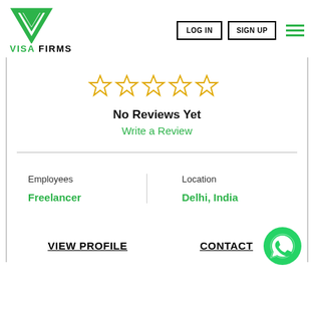[Figure (logo): Visa Firms logo with green triangular/V-shaped icon and text VISA FIRMS]
LOG IN
SIGN UP
[Figure (illustration): Green hamburger menu icon (three horizontal lines)]
[Figure (illustration): Five empty/outlined gold star rating icons]
No Reviews Yet
Write a Review
Employees
Freelancer
Location
Delhi, India
VIEW PROFILE
CONTACT
[Figure (illustration): Green WhatsApp button icon (phone handset in speech bubble)]